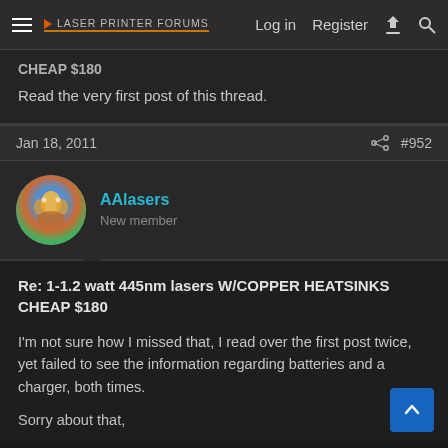Laser Printer Forums — Log in | Register
CHEAP $180
Read the very first post of this thread.
Jan 18, 2011  #952
AAlasers
New member
Re: 1-1.2 watt 445nm lasers W/COPPER HEATSINKS CHEAP $180
I'm not sure how I missed that, I read over the first post twice, yet failed to see the information regarding batteries and a charger, both times.
Sorry about that,